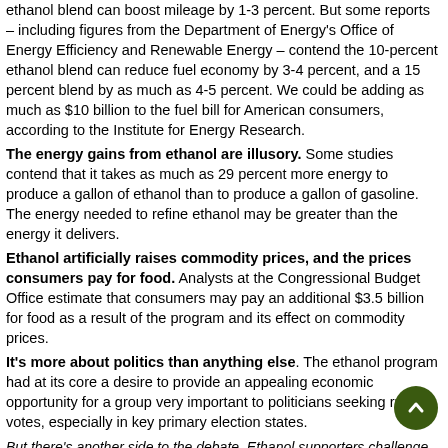ethanol blend can boost mileage by 1-3 percent. But some reports – including figures from the Department of Energy's Office of Energy Efficiency and Renewable Energy – contend the 10-percent ethanol blend can reduce fuel economy by 3-4 percent, and a 15 percent blend by as much as 4-5 percent. We could be adding as much as $10 billion to the fuel bill for American consumers, according to the Institute for Energy Research.
The energy gains from ethanol are illusory. Some studies contend that it takes as much as 29 percent more energy to produce a gallon of ethanol than to produce a gallon of gasoline. The energy needed to refine ethanol may be greater than the energy it delivers.
Ethanol artificially raises commodity prices, and the prices consumers pay for food. Analysts at the Congressional Budget Office estimate that consumers may pay an additional $3.5 billion for food as a result of the program and its effect on commodity prices.
It's more about politics than anything else. The ethanol program had at its core a desire to provide an appealing economic opportunity for a group very important to politicians seeking rural votes, especially in key primary election states.
But there's another side to the debate. Ethanol supporters challenge many of the criticisms and point to other critical considerations. Supporters of ethanol say the rural economy needs ethanol more than ever – and so do food consumers, even if they don't realize it.
We're in too deep to quit now. Our country has made massive commitments to the ethanol industry, in good faith. We have invested literally billions of dollars in plants and equipment, and in the production tools and systems we need to serve a huge market for a crop critical to